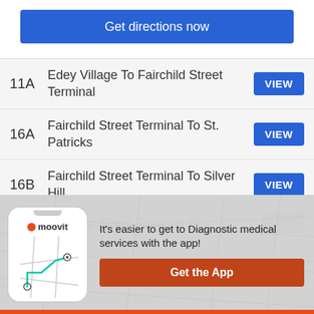Get directions now
11A — Edey Village To Fairchild Street Terminal
16A — Fairchild Street Terminal To St. Patricks
16B — Fairchild Street Terminal To Silver Hill
Fairchild Street Terminal To (partial)
It's easier to get to Diagnostic medical services with the app!
Get the App